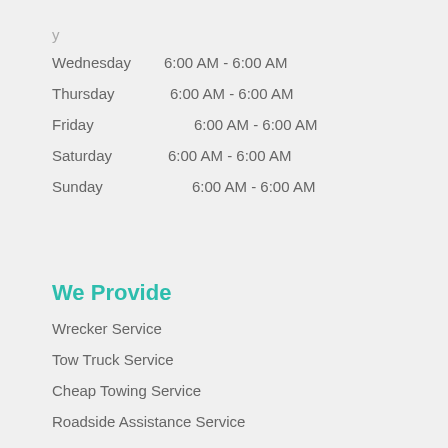Wednesday 6:00 AM - 6:00 AM
Thursday 6:00 AM - 6:00 AM
Friday 6:00 AM - 6:00 AM
Saturday 6:00 AM - 6:00 AM
Sunday 6:00 AM - 6:00 AM
We Provide
Wrecker Service
Tow Truck Service
Cheap Towing Service
Roadside Assistance Service